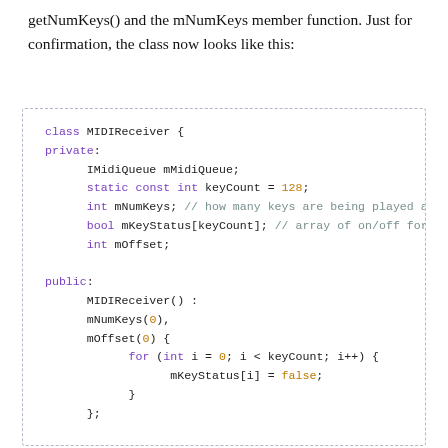getNumKeys() and the mNumKeys member function. Just for confirmation, the class now looks like this:
[Figure (screenshot): C++ code block showing the MIDIReceiver class definition with private members (IMidiQueue mMidiQueue, static const int keyCount = 128, int mNumKeys, bool mKeyStatus[keyCount], int mOffset), a public constructor initializing mNumKeys(0) and mOffset(0) with a for loop setting mKeyStatus[i] = false, and inline accessor methods getKeyStatus and getNumKeys, followed by void advance().]